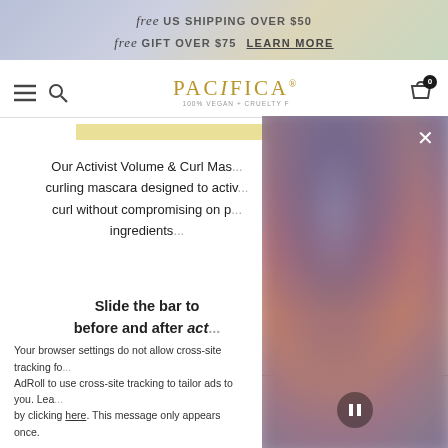free US SHIPPING OVER $50  free GIFT OVER $75  LEARN MORE
[Figure (screenshot): Pacifica beauty website navigation bar with hamburger menu, search icon, Pacifica logo (100% Vegan + Cruelty Free), and shopping cart with badge showing 0]
[Figure (photo): Yellow highlight bar decorative element]
Our Activist Volume & Curl Mas... curling mascara designed to activ... curl without compromising on p... ingredients...
Slide the bar to... before and after act...
[Figure (photo): Blurred popup overlay panel with close X button and pause button, showing a blurred image with purple/pink/coral gradient tones]
Free Shipping Over $50 |
Your browser settings do not allow cross-site tracking fo... AdRoll to use cross-site tracking to tailor ads to you. Lea... by clicking here. This message only appears once.